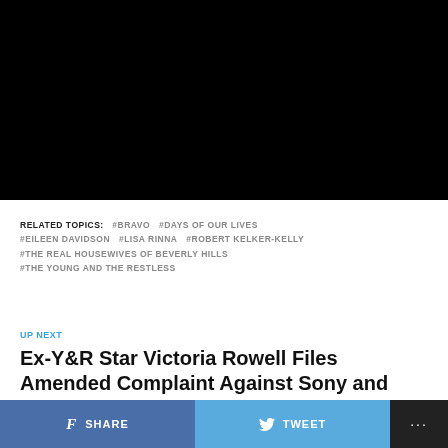[Figure (photo): Black video player area at the top of the page]
RELATED TOPICS: #BRAVO #DAYS OF OUR LIVES #EILEEN DAVIDSON #LISA RINNA #ROBERT KELKER-KELLY #THE REAL HOUSEWIVES OF BEVERLY HILLS #THE YOUNG AND THE RESTLESS
UP NEXT
Ex-Y&R Star Victoria Rowell Files Amended Complaint Against Sony and CBS!
SHARE   TWEET   ...